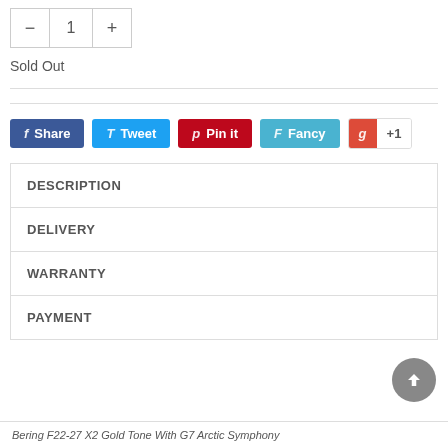- 1 +
Sold Out
f Share | T Tweet | p Pin it | F Fancy | g +1
| DESCRIPTION |
| DELIVERY |
| WARRANTY |
| PAYMENT |
Bering F22-27 X2 Gold Tone With G7 Arctic Symphony